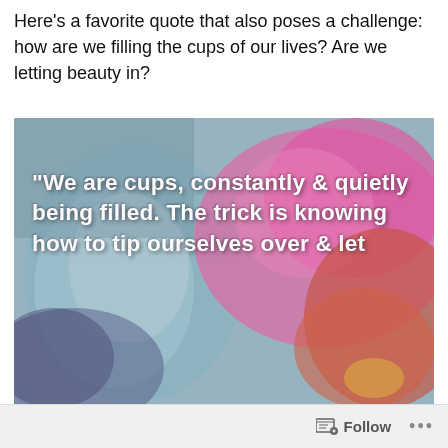Here's a favorite quote that also poses a challenge: how are we filling the cups of our lives? Are we letting beauty in?
[Figure (photo): A vintage-tinted photo of colorful flowers (pink, red, orange) alongside a teal/silver cup or vase, with white bold text overlay reading: "We are cups, constantly & quietly being filled. The trick is knowing how to tip ourselves over & let the beauty out."]
Follow ...